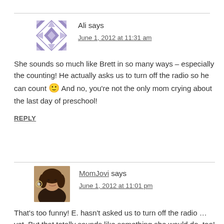Ali says
June 1, 2012 at 11:31 am
She sounds so much like Brett in so many ways – especially the counting! He actually asks us to turn off the radio so he can count 🙂 And no, you're not the only mom crying about the last day of preschool!
REPLY
MomJovi says
June 1, 2012 at 11:01 pm
That's too funny! E. hasn't asked us to turn off the radio … yet. But that totally sounds like something she would do, too! I totally